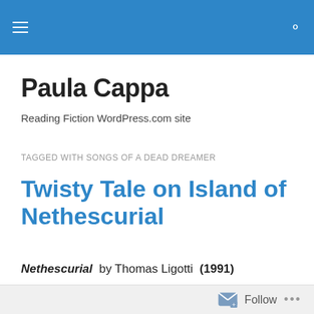Paula Cappa — Reading Fiction WordPress.com site (navigation bar)
Paula Cappa
Reading Fiction WordPress.com site
TAGGED WITH SONGS OF A DEAD DREAMER
Twisty Tale on Island of Nethescurial
Nethescurial  by Thomas Ligotti  (1991)
Tuesday's Tale of Terror    March 21, 2017
Follow